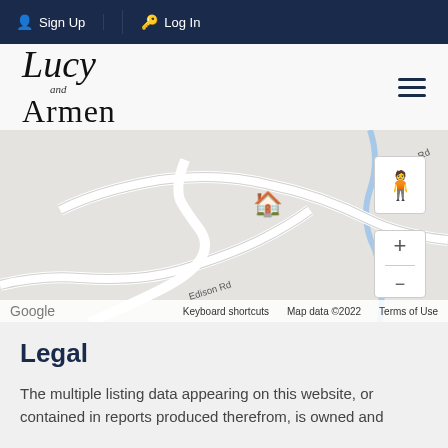Sign Up | Log In
[Figure (logo): Lucy and Armen script logo with hamburger menu icon]
[Figure (map): Google Maps embed showing BP and L Rd and Edison Rd with a home marker, includes zoom controls and pegman icon]
Legal
The multiple listing data appearing on this website, or contained in reports produced therefrom, is owned and